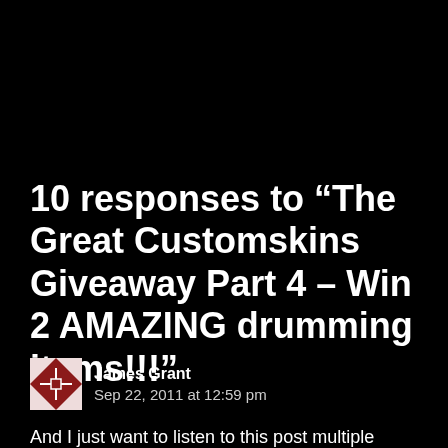10 responses to “The Great Customskins Giveaway Part 4 – Win 2 AMAZING drumming items!!!”
James Grant
Sep 22, 2011 at 12:59 pm
And I just want to listen to this post multiple